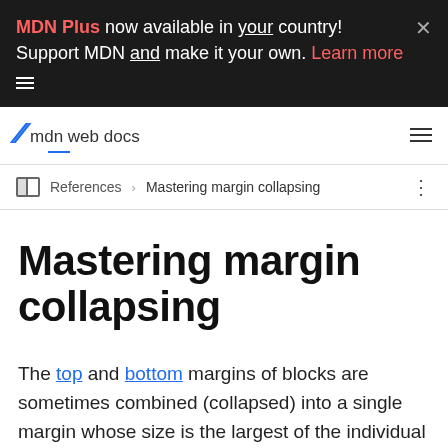MDN Plus now available in your country! Support MDN and make it your own. Learn more
mdn web docs
References > Mastering margin collapsing
Mastering margin collapsing
The top and bottom margins of blocks are sometimes combined (collapsed) into a single margin whose size is the largest of the individual margins (or just one of them, if they are equal), a behavior known as margin